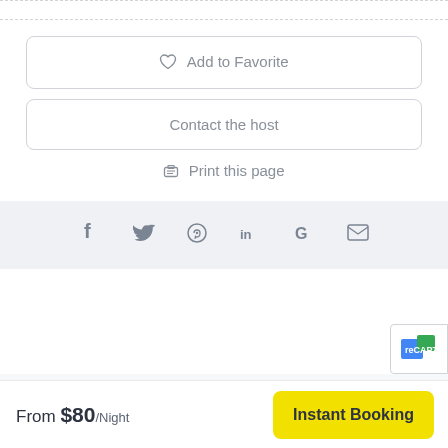Add to Favorite
Contact the host
Print this page
[Figure (other): Social share icons row: Facebook, Twitter, Pinterest, LinkedIn, Google, Email]
From $80/Night
Instant Booking